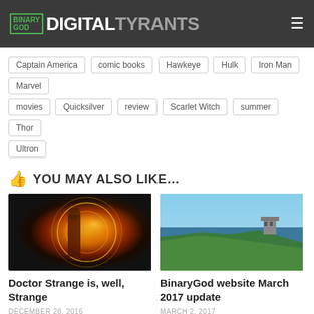BINARY GOD DigitalTyrants
Captain America
comic books
Hawkeye
Hulk
Iron Man
Marvel
movies
Quicksilver
review
Scarlet Witch
summer
Thor
Ultron
YOU MAY ALSO LIKE...
[Figure (photo): Doctor Strange movie promotional image showing the character surrounded by golden magical energy circles]
[Figure (photo): Coastal cliff landscape with an ancient stone tower/castle on the cliff edge overlooking the sea]
Doctor Strange is, well, Strange
BinaryGod website March 2017 update
DECEMBER 28, 2016
MARCH 2, 2017